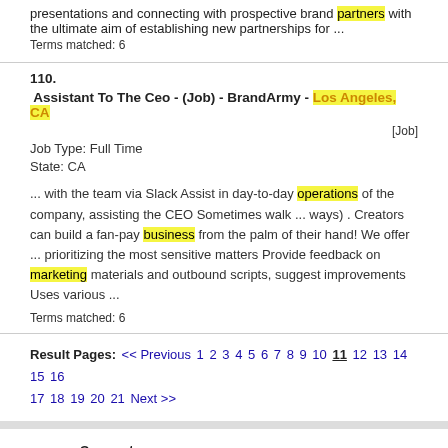presentations and connecting with prospective brand partners with the ultimate aim of establishing new partnerships for ...
Terms matched: 6
110.  Assistant To The Ceo - (Job) - BrandArmy - Los Angeles, CA   [Job]
Job Type: Full Time
State: CA
... with the team via Slack Assist in day-to-day operations of the company, assisting the CEO Sometimes walk ... ways) . Creators can build a fan-pay business from the palm of their hand! We offer ... prioritizing the most sensitive matters Provide feedback on marketing materials and outbound scripts, suggest improvements Uses various ...
Terms matched: 6
Result Pages:  << Previous  1  2  3  4  5  6  7  8  9  10  11  12  13  14  15  16  17  18  19  20  21  Next >>
Support
Report A Problem
Job Seeker FAQ
Employer FAQ
Contact Us